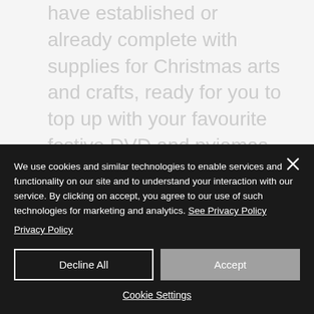have established or already complete with supplies for Christmas arts and crafts, ready for you to top up with your favourite festive DVD and pyjamas.
The Christmas Eve Activity Pack will
We use cookies and similar technologies to enable services and functionality on our site and to understand your interaction with our service. By clicking on accept, you agree to our use of such technologies for marketing and analytics. See Privacy Policy
Decline All
Accept
Cookie Settings